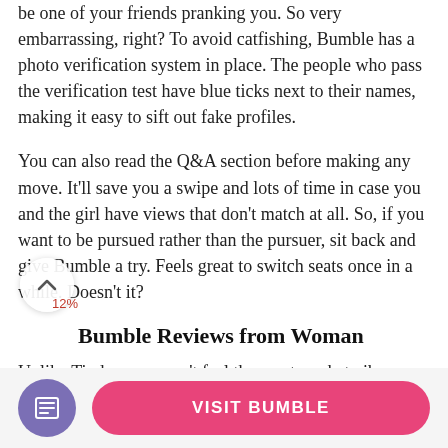be one of your friends pranking you. So very embarrassing, right? To avoid catfishing, Bumble has a photo verification system in place. The people who pass the verification test have blue ticks next to their names, making it easy to sift out fake profiles.
You can also read the Q&A section before making any move. It'll save you a swipe and lots of time in case you and the girl have views that don't match at all. So, if you want to be pursued rather than the pursuer, sit back and give Bumble a try. Feels great to switch seats once in a while. Doesn't it?
Bumble Reviews from Woman
Unlike Tinder, you won't feel the meat market vibe on